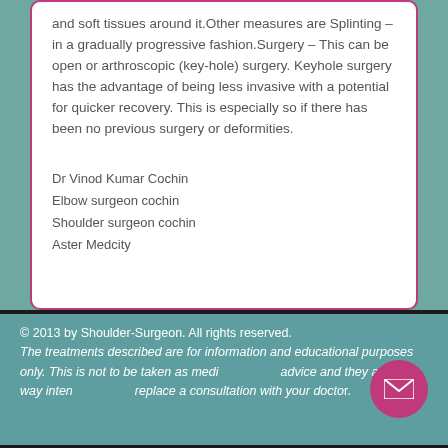and soft tissues around it.Other measures are Splinting – in a gradually progressive fashion.Surgery – This can be open or arthroscopic (key-hole) surgery. Keyhole surgery has the advantage of being less invasive with a potential for quicker recovery. This is especially so if there has been no previous surgery or deformities.
Dr Vinod Kumar Cochin
Elbow surgeon cochin
Shoulder surgeon cochin
Aster Medcity
© 2013 by Shoulder-Surgeon. All rights reserved.
The treatments described are for information and educational purposes only. This is not to be taken as medical advice and they are in no way intended to replace a consultation with your doctor.